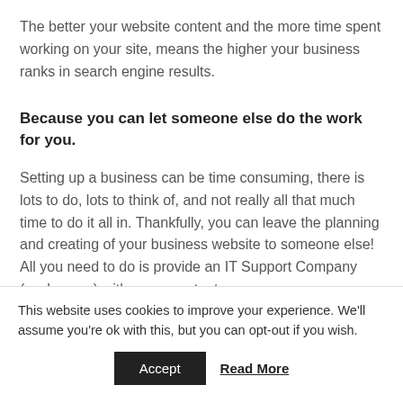The better your website content and the more time spent working on your site, means the higher your business ranks in search engine results.
Because you can let someone else do the work for you.
Setting up a business can be time consuming, there is lots to do, lots to think of, and not really all that much time to do it all in. Thankfully, you can leave the planning and creating of your business website to someone else! All you need to do is provide an IT Support Company (such as us) with some content,
This website uses cookies to improve your experience. We'll assume you're ok with this, but you can opt-out if you wish.